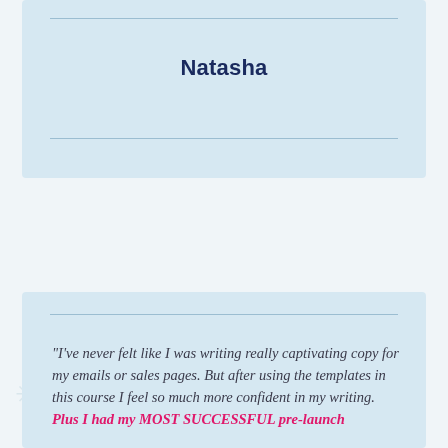Natasha
“I’ve never felt like I was writing really captivating copy for my emails or sales pages. But after using the templates in this course I feel so much more confident in my writing. Plus I had my MOST SUCCESSFUL pre-launch